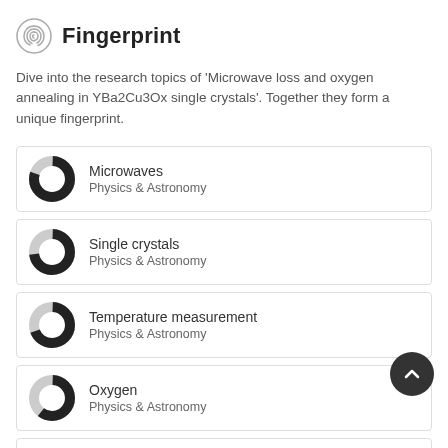Fingerprint
Dive into the research topics of 'Microwave loss and oxygen annealing in YBa2Cu3Ox single crystals'. Together they form a unique fingerprint.
Microwaves / Physics & Astronomy
Single crystals / Physics & Astronomy
Temperature measurement / Physics & Astronomy
Oxygen / Physics & Astronomy
Annealing / Physics & Astronomy